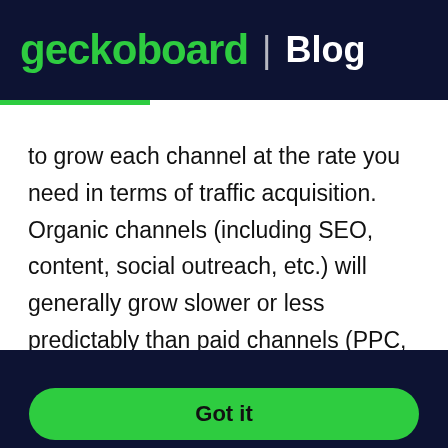geckoboard | Blog
to grow each channel at the rate you need in terms of traffic acquisition. Organic channels (including SEO, content, social outreach, etc.) will generally grow slower or less predictably than paid channels (PPC, paid social, retargeting etc.). I've made the
By continuing to use this site you consent to the use of cookies in accordance with our cookie policy.  Learn more
Got it